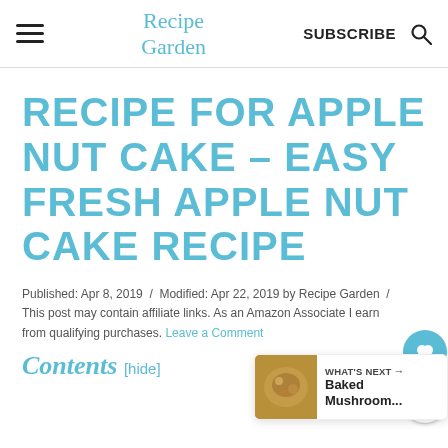Recipe Garden | SUBSCRIBE
RECIPE FOR APPLE NUT CAKE – EASY FRESH APPLE NUT CAKE RECIPE
Published: Apr 8, 2019  /  Modified: Apr 22, 2019 by Recipe Garden  /  This post may contain affiliate links. As an Amazon Associate I earn from qualifying purchases. Leave a Comment
Contents [hide]